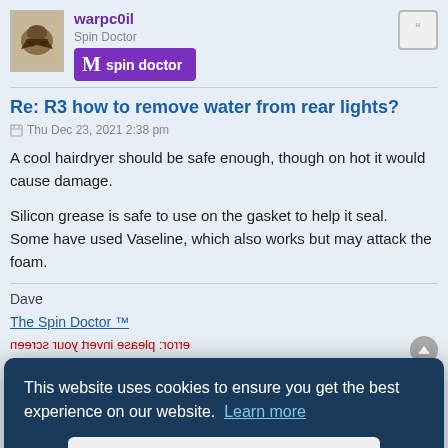warpc0il
Spin Doctor
spin doctor
Re: R3 how to remove water from rear lights?
Thu Dec 23, 2021 2:38 pm
A cool hairdryer should be safe enough, though on hot it would cause damage.
Silicon grease is safe to use on the gasket to help it seal.
Some have used Vaseline, which also works but may attack the foam.
Dave
The Spin Doctor ™
error: please invert your screen
This website uses cookies to ensure you get the best experience on our website.  Learn more
Got it!
bulb holes, or on the outside of the lenses to warm them up from outside